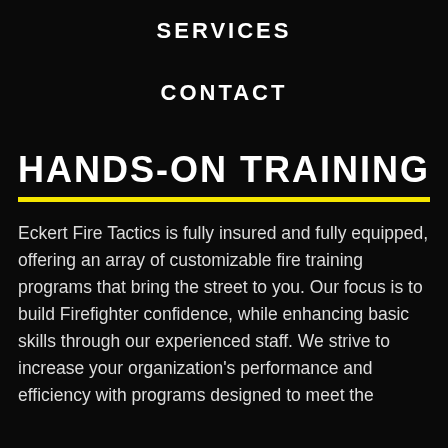SERVICES
CONTACT
HANDS-ON TRAINING
Eckert Fire Tactics is fully insured and fully equipped, offering an array of customizable fire training programs that bring the street to you. Our focus is to build Firefighter confidence, while enhancing basic skills through our experienced staff. We strive to increase your organization's performance and efficiency with programs designed to meet the